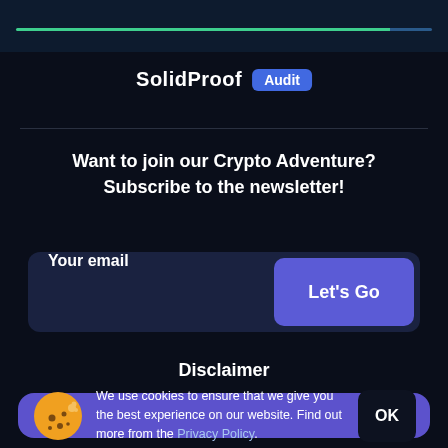SolidProof Audit
Want to join our Crypto Adventure? Subscribe to the newsletter!
[Figure (screenshot): Email subscription form with 'Your email' input field and 'Let's Go' button]
Disclaimer
We use cookies to ensure that we give you the best experience on our website. Find out more from the Privacy Policy.